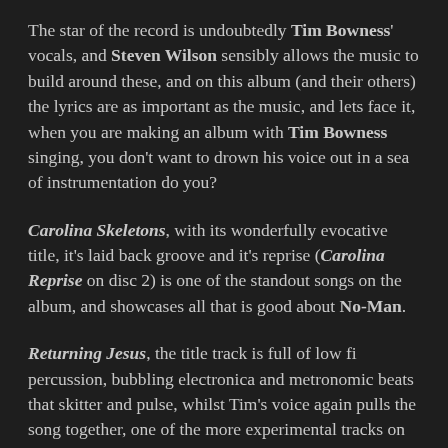The star of the record is undoubtedly Tim Bowness' vocals, and Steven Wilson sensibly allows the music to build around these, and on this album (and their others) the lyrics are as important as the music, and lets face it, when you are making an album with Tim Bowness singing, you don't want to drown his voice out in a sea of instrumentation do you?
Carolina Skeletons, with its wonderfully evocative title, it's laid back groove and it's reprise (Carolina Reprise on disc 2) is one of the standout songs on the album, and showcases all that is good about No-Man.
Returning Jesus, the title track is full of low fi percussion, bubbling electronica and metronomic beats that skitter and pulse, whilst Tim's voice again pulls the song together, one of the more experimental tracks on the album, it seems to fit the